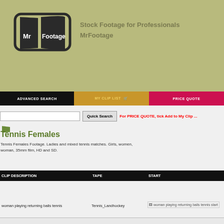[Figure (logo): Mr Footage logo — stylized TV screen shape with 'Mr Footage' text]
Stock Footage for Professionals MrFootage
ADVANCED SEARCH | MY CLIP LIST | PRICE QUOTE
Quick Search  For PRICE QUOTE, tick Add to My Clip ...
Tennis Females
Tennis Females Footage. Ladies and mixed tennis matches. Girls, women, woman, 35mm film, HD and SD.
| CLIP DESCRIPTION | TAPE | START |
| --- | --- | --- |
| woman playing returning balls tennis | Tennis_Landhockey | woman playing returning balls tennis start |